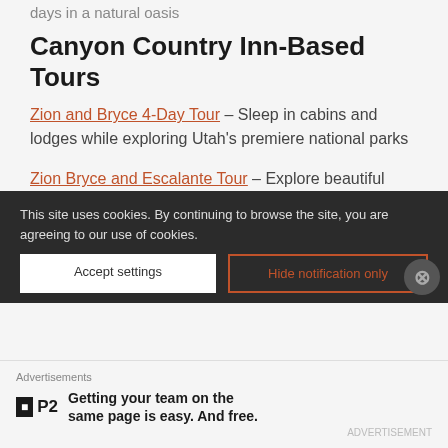days in a natural oasis
Canyon Country Inn-Based Tours
Zion and Bryce 4-Day Tour – Sleep in cabins and lodges while exploring Utah's premiere national parks
Zion Bryce and Escalante Tour – Explore beautiful hiking trails by day and sleep in private cabins by night
Zion Bryce Grand Canyon Tour – Bryce, to the Grand Canyon, to Zion National Park, all in six days
This site uses cookies. By continuing to browse the site, you are agreeing to our use of cookies.
Advertisements
Getting your team on the same page is easy. And free.